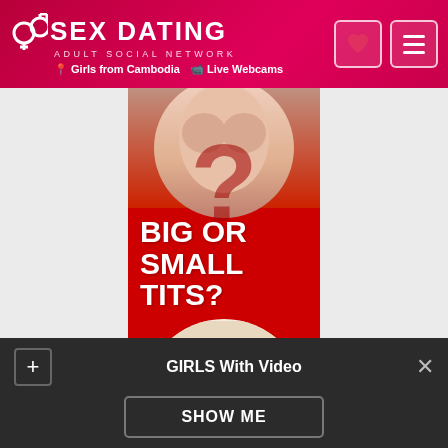SEX DATING ADULT SOCIAL NETWORK | Girls from Cambodia | Live Webcams
[Figure (advertisement): Adult dating website advertisement banner with red background, text 'BIG OR SMALL TITS?' in large white bold letters, and a circular photo of a woman at the bottom]
GIRLS With Video
SHOW ME